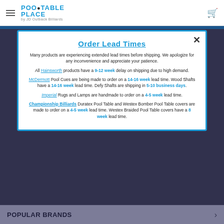Pool Table Place by JD Outback Billiards
Order Lead Times
Many products are experiencing extended lead times before shipping. We apologize for any inconvenience and appreciate your patience.
All Hainsworth products have a 9-12 week delay on shipping due to high demand.
McDermott Pool Cues are being made to order on a 14-16 week lead time. Wood Shafts have a 14-16 week lead time. Defy Shafts are shipping in 5-10 business days.
Imperial Rugs and Lamps are handmade to order on a 4-5 week lead time.
Championship Billiards Duratex Pool Table and Westex Bomber Pool Table covers are made to order on a 4-5 week lead time. Westex Braided Pool Table covers have a 8 week lead time.
POPULAR BRANDS